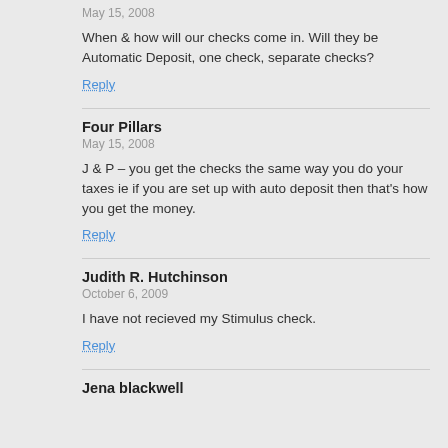May 15, 2008
When & how will our checks come in. Will they be Automatic Deposit, one check, separate checks?
Reply
Four Pillars
May 15, 2008
J & P – you get the checks the same way you do your taxes ie if you are set up with auto deposit then that's how you get the money.
Reply
Judith R. Hutchinson
October 6, 2009
I have not recieved my Stimulus check.
Reply
Jena blackwell